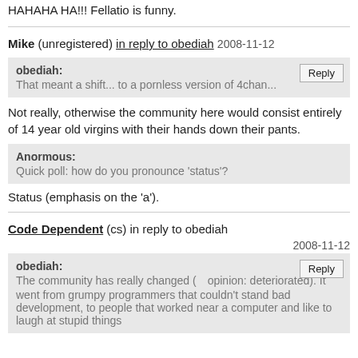HAHAHA HA!!! Fellatio is funny.
Mike (unregistered) in reply to obediah 2008-11-12
obediah: That meant a shift... to a pornless version of 4chan...
Not really, otherwise the community here would consist entirely of 14 year old virgins with their hands down their pants.
Anormous: Quick poll: how do you pronounce 'status'?
Status (emphasis on the 'a').
Code Dependent (cs) in reply to obediah 2008-11-12
obediah: The community has really changed ( opinion: deteriorated). It went from grumpy programmers that couldn't stand bad development, to people that worked near a computer and like to laugh at stupid things